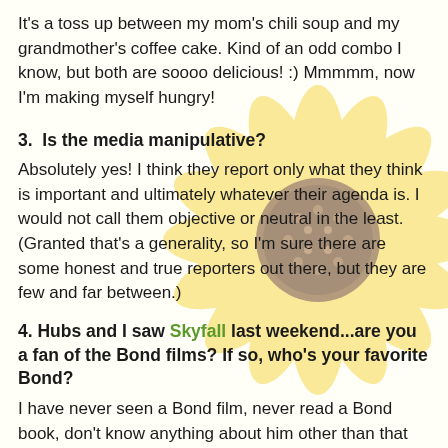It's a toss up between my mom's chili soup and my grandmother's coffee cake. Kind of an odd combo I know, but both are soooo delicious! :) Mmmmm, now I'm making myself hungry!
3.  Is the media manipulative?
Absolutely yes! I think they report only what they think is important and ultimately whatever their agenda is. I would not call them objective or neutral in the least. (Granted that's a generality, so I'm sure there are some honest and true reporters out there, but they are few and far between.)
4. Hubs and I saw Skyfall last weekend...are you a fan of the Bond films? If so, who's your favorite Bond?
I have never seen a Bond film, never read a Bond book, don't know anything about him other than that he is extremely popular!
5. What is one thing you hope people never say about you?